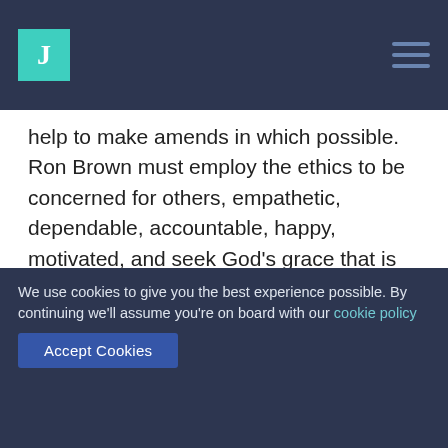J
help to make amends in which possible. Ron Brown must employ the ethics to be concerned for others, empathetic, dependable, accountable, happy, motivated, and seek God’s grace that is my only salvation.
Remember: This is just a sample from a fellow student. Your time is important. Let us write you an essay from scratch
[Figure (other): Orange GET ESSAY HELP button]
We use cookies to give you the best experience possible. By continuing we’ll assume you’re on board with our cookie policy
These kinds of character qualities shape the makings of the most effective ethical po... will total Ron Brown’s success with mankind and God. Personally, when dealing
Accept Cookies